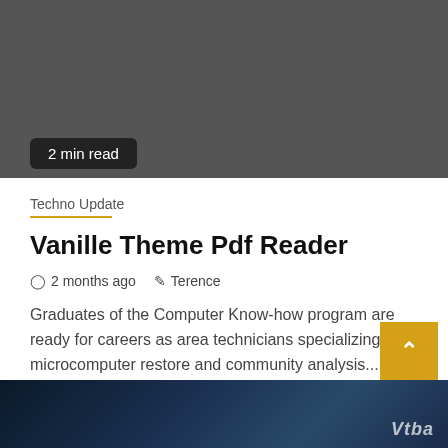[Figure (photo): Dark gray banner image at top of page with '2 min read' badge overlay]
Techno Update
Vanille Theme Pdf Reader
2 months ago   Terence
Graduates of the Computer Know-how program are ready for careers as area technicians specializing in microcomputer restore and community analysis....
[Figure (photo): Dark keyboard/technology image at bottom of page with watermark logo]